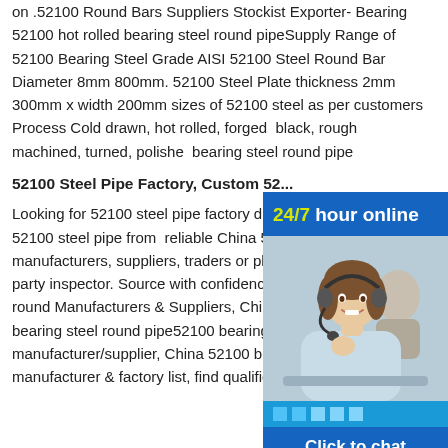on .52100 Round Bars Suppliers Stockist Exporter- Bearing 52100 hot rolled bearing steel round pipeSupply Range of 52100 Bearing Steel Grade AISI 52100 Steel Round Bar Diameter 8mm 800mm. 52100 Steel Plate thickness 2mm 300mm x width 200mm sizes of 52100 steel as per customers Process Cold drawn, hot rolled, forged black, rough machined, turned, polished bearing steel round pipe
[Figure (photo): Customer service chat widget with '24/7 hour online' header in blue, photo of smiling woman with headset, dots bar, and 'Click to chat' button]
52100 Steel Pipe Factory, Custom 52...
Looking for 52100 steel pipe factory di buy factory price 52100 steel pipe from reliable China 52100 steel pipe manufacturers, suppliers, traders or plants verified by a third-party inspector. Source with confidence.52100 bearing steel round Manufacturers & Suppliers, China 52100 hot rolled bearing steel round pipe52100 bearing steel round manufacturer/supplier, China 52100 bearing steel round manufacturer & factory list, find qualified Chinese 52100